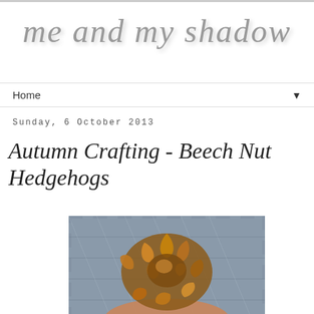me and my shadow
Home ▼
Sunday, 6 October 2013
Autumn Crafting - Beech Nut Hedgehogs
[Figure (photo): A hand holding a beech nut hedgehog craft made from brown dried beech nut shells arranged to look like a hedgehog, displayed on a grey-blue fabric background.]